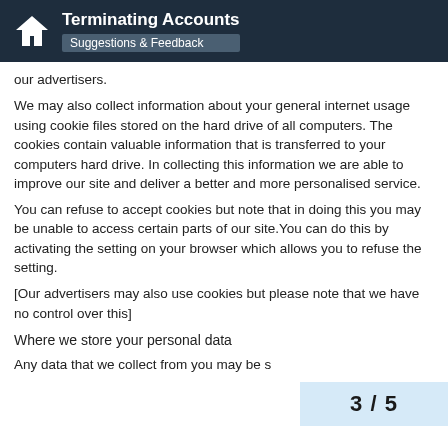Terminating Accounts | Suggestions & Feedback
our advertisers.
We may also collect information about your general internet usage using cookie files stored on the hard drive of all computers. The cookies contain valuable information that is transferred to your computers hard drive. In collecting this information we are able to improve our site and deliver a better and more personalised service.
You can refuse to accept cookies but note that in doing this you may be unable to access certain parts of our site.You can do this by activating the setting on your browser which allows you to refuse the setting.
[Our advertisers may also use cookies but please note that we have no control over this]
Where we store your personal data
Any data that we collect from you may be s
3 / 5